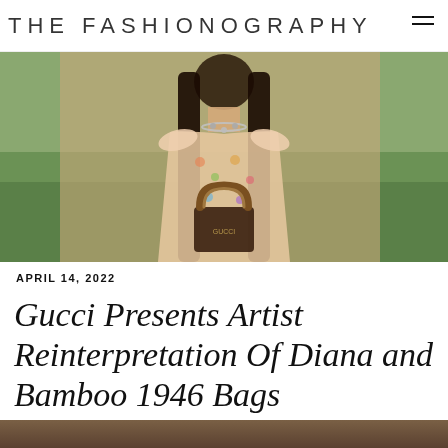THE FASHIONOGRAPHY
[Figure (photo): Fashion photo of a woman with long dark hair wearing a floral pastel dress with ruffled shoulders, a crystal necklace, and holding a Gucci bamboo-handled bag. Green hillside background.]
APRIL 14, 2022
Gucci Presents Artist Reinterpretation Of Diana and Bamboo 1946 Bags
[Figure (photo): Bottom strip showing partial image, dark warm tones.]